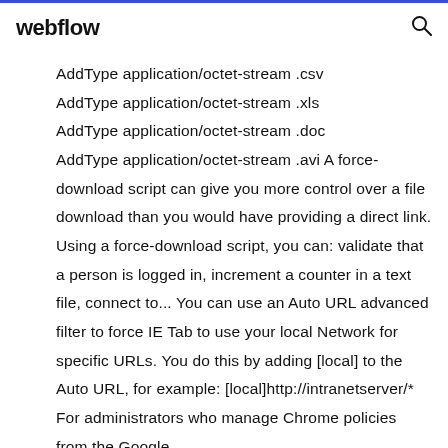webflow
AddType application/octet-stream .csv
AddType application/octet-stream .xls
AddType application/octet-stream .doc
AddType application/octet-stream .avi A force-download script can give you more control over a file download than you would have providing a direct link. Using a force-download script, you can: validate that a person is logged in, increment a counter in a text file, connect to... You can use an Auto URL advanced filter to force IE Tab to use your local Network for specific URLs. You do this by adding [local] to the Auto URL, for example: [local]http://intranetserver/* For administrators who manage Chrome policies from the Google